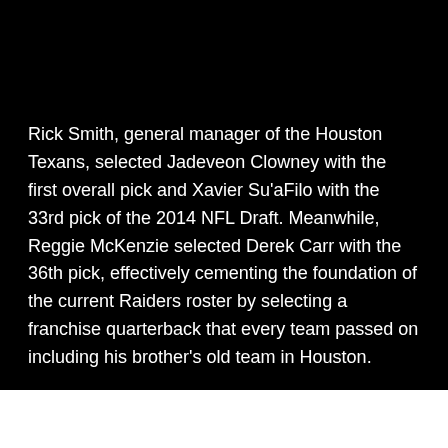Rick Smith, general manager of the Houston Texans, selected Jadeveon Clowney with the first overall pick and Xavier Su'aFilo with the 33rd pick of the 2014 NFL Draft. Meanwhile, Reggie McKenzie selected Derek Carr with the 36th pick, effectively cementing the foundation of the current Raiders roster by selecting a franchise quarterback that every team passed on including his brother's old team in Houston.